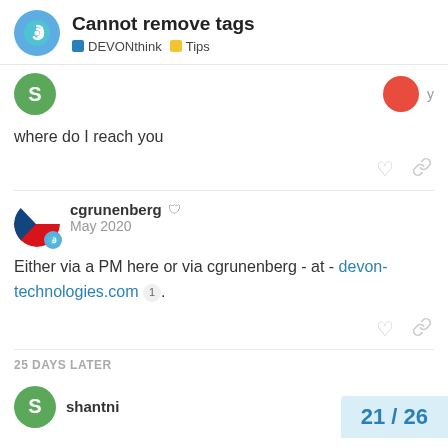Cannot remove tags | DEVONthink | Tips
where do I reach you
cgrunenberg  May 2020
Either via a PM here or via cgrunenberg - at - devon-technologies.com 1 .
25 DAYS LATER
shantni
21 / 26